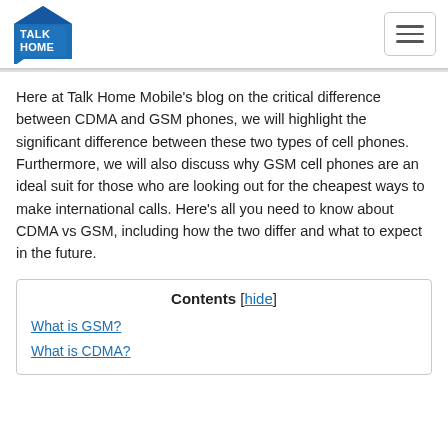[Figure (logo): Talk Home logo: blue house shape with 'TALK HOME' text and a speech bubble element]
Here at Talk Home Mobile's blog on the critical difference between CDMA and GSM phones, we will highlight the significant difference between these two types of cell phones. Furthermore, we will also discuss why GSM cell phones are an ideal suit for those who are looking out for the cheapest ways to make international calls. Here's all you need to know about CDMA vs GSM, including how the two differ and what to expect in the future.
Contents [hide]
What is GSM?
What is CDMA?